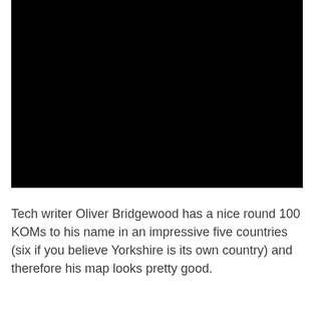[Figure (photo): A large black rectangle representing a video or image placeholder]
Tech writer Oliver Bridgewood has a nice round 100 KOMs to his name in an impressive five countries (six if you believe Yorkshire is its own country) and therefore his map looks pretty good.